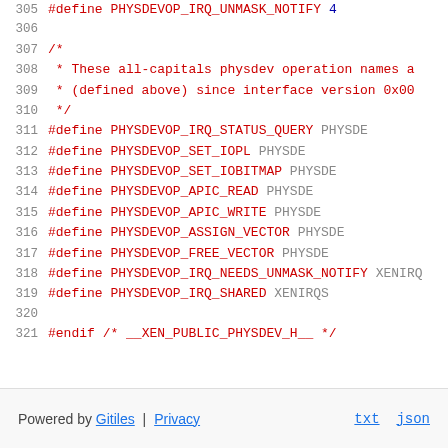305  #define PHYSDEVOP_IRQ_UNMASK_NOTIFY   4
306
307  /*
308   * These all-capitals physdev operation names a
309   * (defined above) since interface version 0x00
310   */
311  #define PHYSDEVOP_IRQ_STATUS_QUERY       PHYSDE
312  #define PHYSDEVOP_SET_IOPL                PHYSDE
313  #define PHYSDEVOP_SET_IOBITMAP            PHYSDE
314  #define PHYSDEVOP_APIC_READ               PHYSDE
315  #define PHYSDEVOP_APIC_WRITE              PHYSDE
316  #define PHYSDEVOP_ASSIGN_VECTOR           PHYSDE
317  #define PHYSDEVOP_FREE_VECTOR             PHYSDE
318  #define PHYSDEVOP_IRQ_NEEDS_UNMASK_NOTIFY XENIRQ
319  #define PHYSDEVOP_IRQ_SHARED              XENIRQS
320
321  #endif /* __XEN_PUBLIC_PHYSDEV_H__ */
Powered by Gitiles | Privacy   txt  json